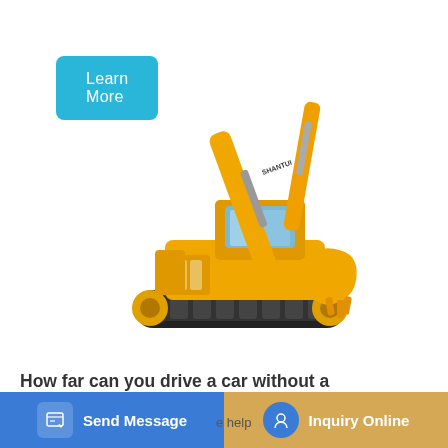Learn More
[Figure (photo): Yellow SHANTUI hydraulic excavator on white background, showing boom, arm, bucket, and tracked undercarriage]
How far can you drive a car without a wireless car key
Send Message
Inquiry Online
e help